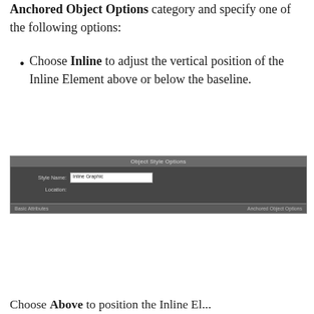Anchored Object Options category and specify one of the following options:
Choose Inline to adjust the vertical position of the Inline Element above or below the baseline.
[Figure (screenshot): Object Style Options dialog box showing Style Name field with 'Inline Graphic' and a Location row, with partially visible Anchored Object Options section at bottom.]
Choose Above to position the Inline El...